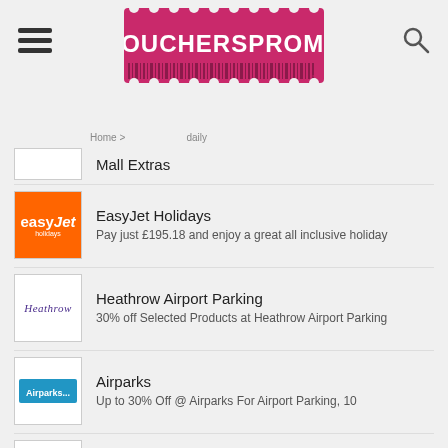[Figure (logo): VouchersPromo website header with logo, hamburger menu, and search icon]
Mall Extras
EasyJet Holidays
Pay just £195.18 and enjoy a great all inclusive holiday
Heathrow Airport Parking
30% off Selected Products at Heathrow Airport Parking
Airparks
Up to 30% Off @ Airparks For Airport Parking, 10
Park BCP
Find Up to 30% Off Airport Parking, 10 at Park BCP Discount Now!
alamo
Get Miami car hire Low to From